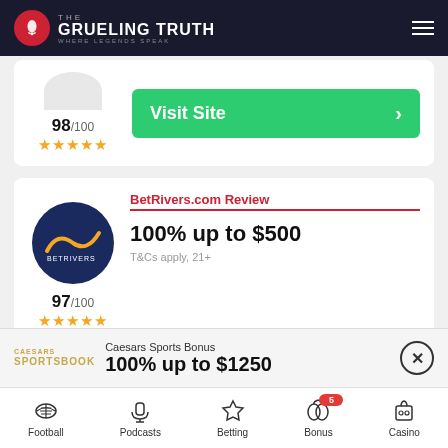The Grueling Truth — Where Legends Speak
98/100 ★★★★★
Visit Site
BetRivers.com Review
100% up to $500
T&Cs apply, 21+
Visit Site
97/100 ★★★★★
BetMGM Review
Caesars Sports Bonus
100% up to $1250
Football | Podcasts | Betting | Bonus 5 | Casino